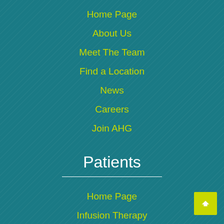Home Page
About Us
Meet The Team
Find a Location
News
Careers
Join AHG
Patients
Home Page
Infusion Therapy
Patient Education
Clinical Trials